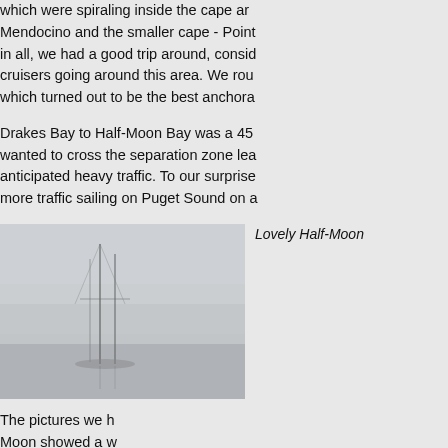which were spiraling inside the cape ar Mendocino and the smaller cape - Point in all, we had a good trip around, conside cruisers going around this area. We rou which turned out to be the best anchora
Drakes Bay to Half-Moon Bay was a 45 wanted to cross the separation zone lea anticipated heavy traffic. To our surprise more traffic sailing on Puget Sound on a
[Figure (photo): Misty foggy harbor scene with sailboat masts barely visible through heavy fog]
Lovely Half-Moon
The pictures we h Moon showed a w skanky, derelict bo We shoe-horned i guano-covered br was thick and the fog horn on the brea toot every 10 seconds or so. The fog wa of visibility when we left for Monterey, 63
Monterey
Monterey was a great stop - we could h and had a walking tour of the old adobe the first constitutional convention was h The rate was about $30 a night for our 4
[Figure (photo): Marina with many sailboats and masts reflected in calm water, hills in background]
The old customs h
We rounded Big S 30. While reefing d reefing line on a m until I realized tha that sailing on the different from Puget Sound. Anyway - I system inside the boom. The sail would having taken apart the reefing system in